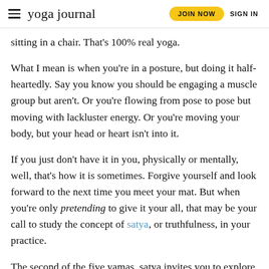yoga journal   JOIN NOW   SIGN IN
sitting in a chair. That's 100% real yoga.
What I mean is when you're in a posture, but doing it half-heartedly. Say you know you should be engaging a muscle group but aren't. Or you're flowing from pose to pose but moving with lackluster energy. Or you're moving your body, but your head or heart isn't into it.
If you just don't have it in you, physically or mentally, well, that's how it is sometimes. Forgive yourself and look forward to the next time you meet your mat. But when you're only pretending to give it your all, that may be your call to study the concept of satya, or truthfulness, in your practice.
The second of the five yamas, satya invites you to explore not just what is factual, but what is deeply honest and true. That applies not only to the words you speak, but to how you move…